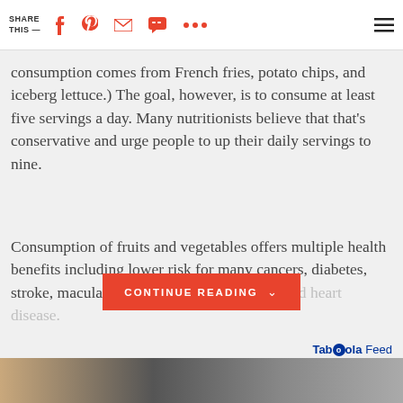SHARE THIS —
consumption comes from French fries, potato chips, and iceberg lettuce.) The goal, however, is to consume at least five servings a day. Many nutritionists believe that that's conservative and urge people to up their daily servings to nine.
Consumption of fruits and vegetables offers multiple health benefits including lower risk for many cancers, diabetes, stroke, macular degeneration, osteoporosis and heart disease.
CONTINUE READING
Taboola Feed
[Figure (photo): Image strip at the bottom of the page showing partial photographs]